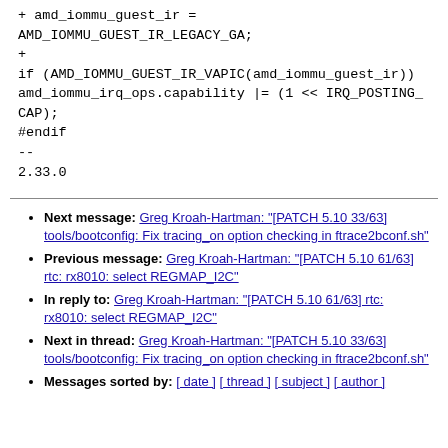+ amd_iommu_guest_ir =
AMD_IOMMU_GUEST_IR_LEGACY_GA;
+
if (AMD_IOMMU_GUEST_IR_VAPIC(amd_iommu_guest_ir))
amd_iommu_irq_ops.capability |= (1 << IRQ_POSTING_CAP);
#endif
--
2.33.0
Next message: Greg Kroah-Hartman: "[PATCH 5.10 33/63] tools/bootconfig: Fix tracing_on option checking in ftrace2bconf.sh"
Previous message: Greg Kroah-Hartman: "[PATCH 5.10 61/63] rtc: rx8010: select REGMAP_I2C"
In reply to: Greg Kroah-Hartman: "[PATCH 5.10 61/63] rtc: rx8010: select REGMAP_I2C"
Next in thread: Greg Kroah-Hartman: "[PATCH 5.10 33/63] tools/bootconfig: Fix tracing_on option checking in ftrace2bconf.sh"
Messages sorted by: [ date ] [ thread ] [ subject ] [ author ]